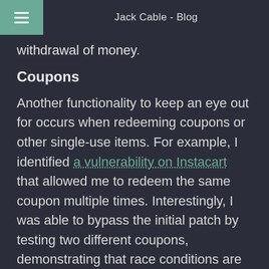Jack Cable - Blog
withdrawal of money.
Coupons
Another functionality to keep an eye out for occurs when redeeming coupons or other single-use items. For example, I identified a vulnerability on Instacart that allowed me to redeem the same coupon multiple times. Interestingly, I was able to bypass the initial patch by testing two different coupons, demonstrating that race conditions are not always simple to patch.
Voting Systems
Other examples of race conditions often...